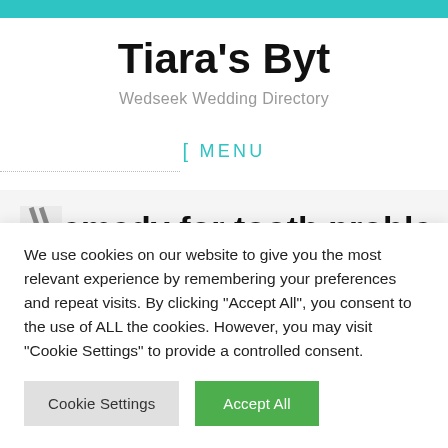Tiara's Byt
Wedseek Wedding Directory
MENU
remedy for tooth problems and
We use cookies on our website to give you the most relevant experience by remembering your preferences and repeat visits. By clicking "Accept All", you consent to the use of ALL the cookies. However, you may visit "Cookie Settings" to provide a controlled consent.